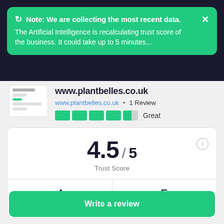Note: We are collecting the most recent data. The Artificial Intelligence is recalculating trust score of the business. It could take up to 5 minutes...
www.plantbelles.co.uk
www.plantbelles.co.uk • 1 Review
Great
4.5 / 5 Trust Score
| Reviews | Social |
| --- | --- |
| 4 | 5 |
Write a review